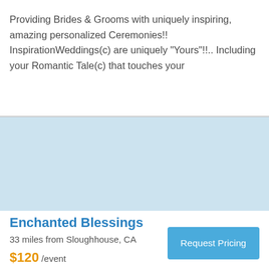Providing Brides & Grooms with uniquely inspiring, amazing personalized Ceremonies!! InspirationWeddings(c) are uniquely "Yours"!!.. Including your Romantic Tale(c) that touches your
[Figure (photo): Light blue placeholder image area representing a vendor photo]
Enchanted Blessings
33 miles from Sloughhouse, CA
Request Pricing
$120 /event